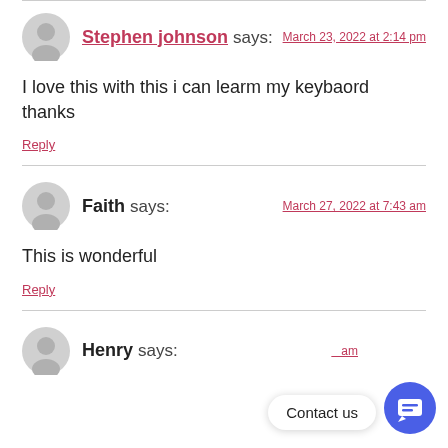Stephen johnson says: March 23, 2022 at 2:14 pm
I love this with this i can learm my keybaord thanks
Reply
Faith says: March 27, 2022 at 7:43 am
This is wonderful
Reply
Henry says:
Contact us